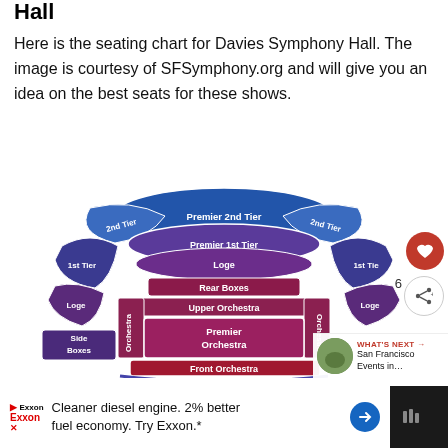Hall
Here is the seating chart for Davies Symphony Hall. The image is courtesy of SFSymphony.org and will give you an idea on the best seats for these shows.
[Figure (schematic): Seating chart for Davies Symphony Hall showing sections: Premier 2nd Tier, 2nd Tier (left and right), Premier 1st Tier, Loge (center and side), Rear Boxes, Upper Orchestra, Premier Orchestra, Orchestra (left and right), Side Boxes, Front Orchestra. Sections are color-coded in shades of blue, purple, and dark red/maroon arranged in a semicircular theater layout.]
Cleaner diesel engine. 2% better fuel economy. Try Exxon.*